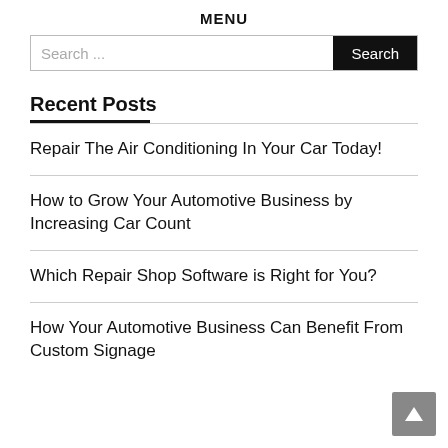MENU
[Figure (screenshot): Search bar with text input showing 'Search...' placeholder and a dark 'Search' button]
Recent Posts
Repair The Air Conditioning In Your Car Today!
How to Grow Your Automotive Business by Increasing Car Count
Which Repair Shop Software is Right for You?
How Your Automotive Business Can Benefit From Custom Signage